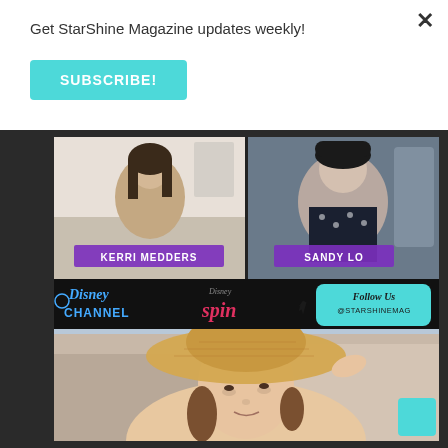Get StarShine Magazine updates weekly!
SUBSCRIBE!
[Figure (screenshot): Video interview screenshot showing Kerri Medders and Sandy Lo with Disney Channel and Disney Spin logos, and a 'Follow Us @STARSHINEMAG' callout]
[Figure (photo): Young woman wearing a straw sun hat outdoors with blurred rocky background]